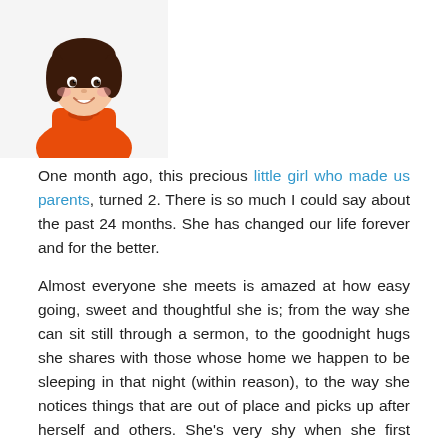[Figure (photo): Photo of a young girl (toddler) smiling, wearing an orange top with ruffles, dark hair, white background.]
One month ago, this precious little girl who made us parents, turned 2. There is so much I could say about the past 24 months. She has changed our life forever and for the better.
Almost everyone she meets is amazed at how easy going, sweet and thoughtful she is; from the way she can sit still through a sermon, to the goodnight hugs she shares with those whose home we happen to be sleeping in that night (within reason), to the way she notices things that are out of place and picks up after herself and others. She's very shy when she first meets you but if she can sit with you and play for a bit you'll see she's dramatic and expressive.